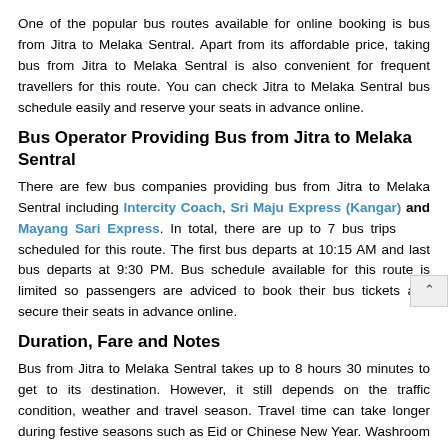One of the popular bus routes available for online booking is bus from Jitra to Melaka Sentral. Apart from its affordable price, taking bus from Jitra to Melaka Sentral is also convenient for frequent travellers for this route. You can check Jitra to Melaka Sentral bus schedule easily and reserve your seats in advance online.
Bus Operator Providing Bus from Jitra to Melaka Sentral
There are few bus companies providing bus from Jitra to Melaka Sentral including Intercity Coach, Sri Maju Express (Kangar) and Mayang Sari Express. In total, there are up to 7 bus trips scheduled for this route. The first bus departs at 10:15 AM and last bus departs at 9:30 PM. Bus schedule available for this route is limited so passengers are adviced to book their bus tickets and secure their seats in advance online.
Duration, Fare and Notes
Bus from Jitra to Melaka Sentral takes up to 8 hours 30 minutes to get to its destination. However, it still depends on the traffic condition, weather and travel season. Travel time can take longer during festive seasons such as Eid or Chinese New Year. Washroom break will be provided during the journey upon request by the driver.